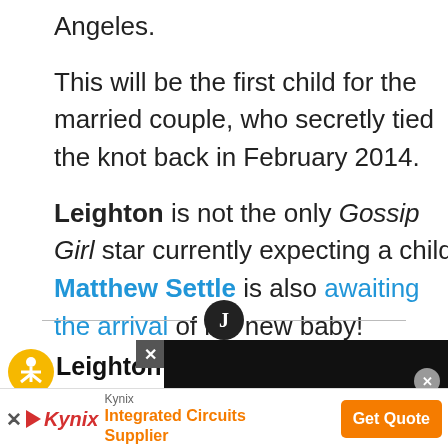Angeles.
This will be the first child for the married couple, who secretly tied the knot back in February 2014.
Leighton is not the only Gossip Girl star currently expecting a child. Matthew Settle is also awaiting the arrival of his new baby!
[Figure (other): Divider line with circular J icon]
Leighton Meester Listens
[Figure (other): Accessibility icon (yellow circle with person figure)]
[Figure (other): Advertisement: Kynix Integrated Circuits Supplier with Get Quote button]
[Figure (other): Video overlay black box with X close button]